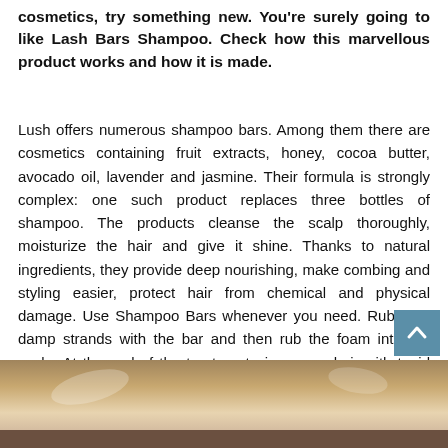cosmetics, try something new. You're surely going to like Lash Bars Shampoo. Check how this marvellous product works and how it is made.
Lush offers numerous shampoo bars. Among them there are cosmetics containing fruit extracts, honey, cocoa butter, avocado oil, lavender and jasmine. Their formula is strongly complex: one such product replaces three bottles of shampoo. The products cleanse the scalp thoroughly, moisturize the hair and give it shine. Thanks to natural ingredients, they provide deep nourishing, make combing and styling easier, protect hair from chemical and physical damage. Use Shampoo Bars whenever you need. Rub your damp strands with the bar and then rub the foam into the scalp. At the end of the treatment, rinse your hair with tepid water thoroughly. Store Shampoo Bars in dry and cool place.
[Figure (photo): Photo strip at the bottom showing shampoo bars and cosmetic items]